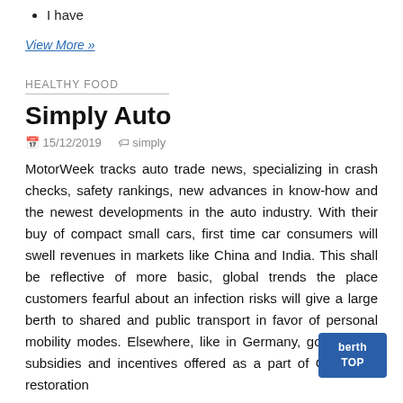I have
View More »
HEALTHY FOOD
Simply Auto
📅 15/12/2019   🏷 simply
MotorWeek tracks auto trade news, specializing in crash checks, safety rankings, new advances in know-how and the newest developments in the auto industry. With their buy of compact small cars, first time car consumers will swell revenues in markets like China and India. This shall be reflective of more basic, global trends the place customers fearful about an infection risks will give a large berth to shared and public transport in favor of personal mobility modes. Elsewhere, like in Germany, government subsidies and incentives offered as a part of COVID-19 restoration